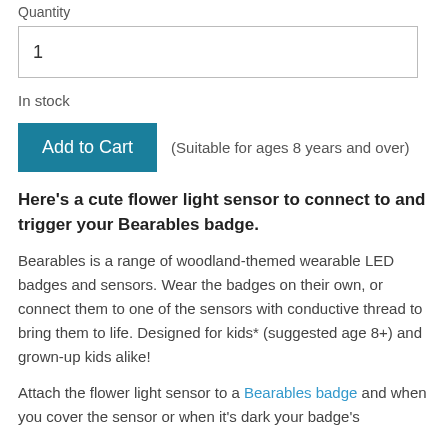Quantity
1
In stock
Add to Cart  (Suitable for ages 8 years and over)
Here's a cute flower light sensor to connect to and trigger your Bearables badge.
Bearables is a range of woodland-themed wearable LED badges and sensors. Wear the badges on their own, or connect them to one of the sensors with conductive thread to bring them to life. Designed for kids* (suggested age 8+) and grown-up kids alike!
Attach the flower light sensor to a Bearables badge and when you cover the sensor or when it's dark your badge's